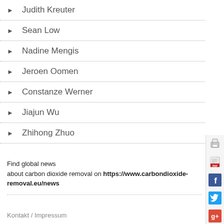▶ Judith Kreuter
▶ Sean Low
▶ Nadine Mengis
▶ Jeroen Oomen
▶ Constanze Werner
▶ Jiajun Wu
▶ Zhihong Zhuo
Find global news about carbon dioxide removal on https://www.carbondioxide-removal.eu/news
Kontakt / Impressum